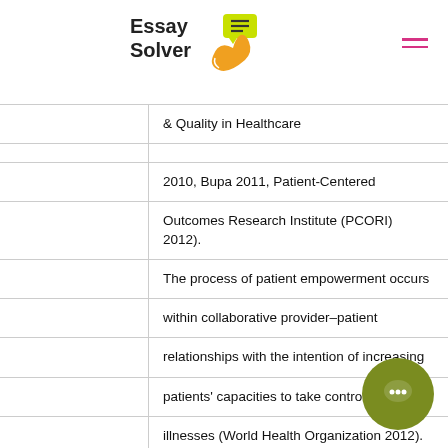[Figure (logo): Essay Solver logo with phone and chat icon]
& Quality in Healthcare
2010, Bupa 2011, Patient-Centered Outcomes Research Institute (PCORI) 2012). The process of patient empowerment occurs within collaborative provider–patient relationships with the intention of increasing patients' capacities to take control of their illnesses (World Health Organization 2012). In their many encounters with patients across the continuum of long-term illness care nurses can empower patients by: (1) h patients to realize that they can participate